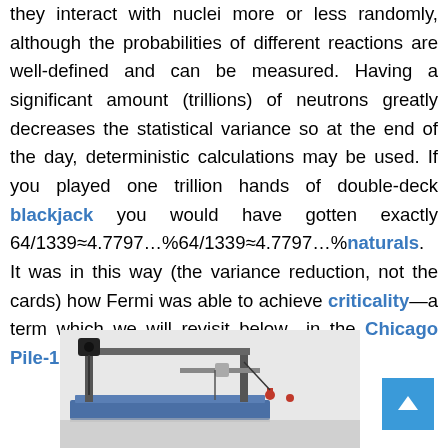they interact with nuclei more or less randomly, although the probabilities of different reactions are well-defined and can be measured. Having a significant amount (trillions) of neutrons greatly decreases the statistical variance so at the end of the day, deterministic calculations may be used. If you played one trillion hands of double-deck blackjack you would have gotten exactly 64/1339≈4.7797…%64/1339≈4.7797…%naturals. It was in this way (the variance reduction, not the cards) how Fermi was able to achieve criticality—a term which we will revisit below—in the Chicago Pile-1 using paper and pencil.
[Figure (photo): Photograph of a scientific/mechanical apparatus, appearing to be a vintage experimental device with metal rods, a base platform and connectors, related to nuclear physics history.]